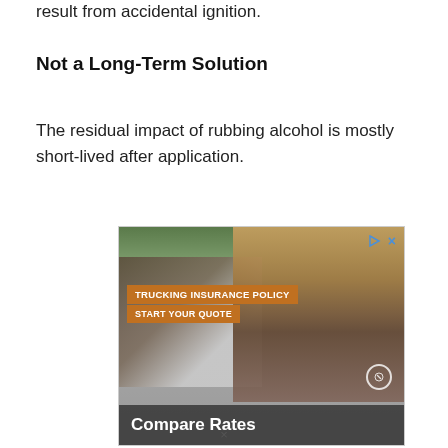result from accidental ignition.
Not a Long-Term Solution
The residual impact of rubbing alcohol is mostly short-lived after application.
[Figure (photo): Advertisement for trucking insurance policy showing a smiling truck driver in a plaid shirt and cap, with a semi-truck in the background. Text overlays read 'TRUCKING INSURANCE POLICY', 'START YOUR QUOTE', and 'Compare Rates'.]
×